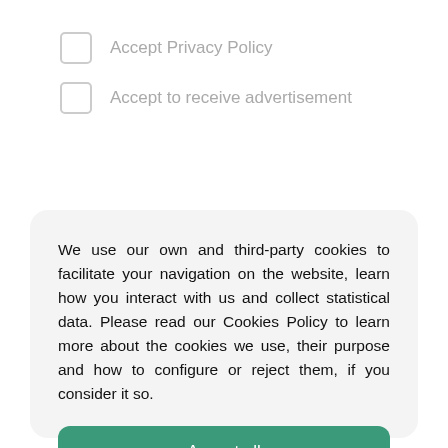Accept Privacy Policy
Accept to receive advertisement
We use our own and third-party cookies to facilitate your navigation on the website, learn how you interact with us and collect statistical data. Please read our Cookies Policy to learn more about the cookies we use, their purpose and how to configure or reject them, if you consider it so.
Accept all
Manage Cookies
Reject